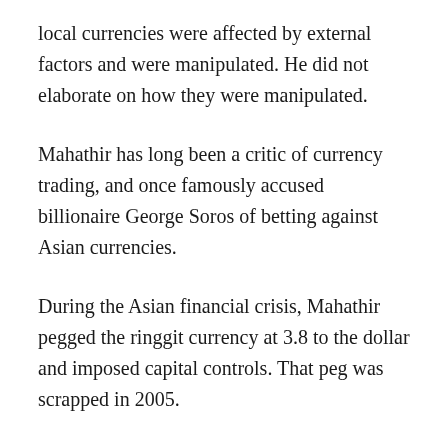local currencies were affected by external factors and were manipulated. He did not elaborate on how they were manipulated.
Mahathir has long been a critic of currency trading, and once famously accused billionaire George Soros of betting against Asian currencies.
During the Asian financial crisis, Mahathir pegged the ringgit currency at 3.8 to the dollar and imposed capital controls. That peg was scrapped in 2005.
Mahathir served a 22-year term as prime minister before stepping down in 2003. He was re-elected in May before stepping down defeating the Barisan...